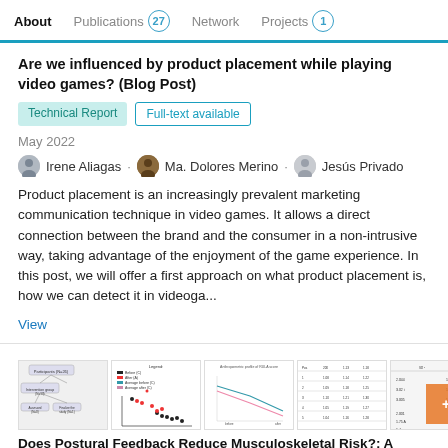About   Publications 27   Network   Projects 1
Are we influenced by product placement while playing video games? (Blog Post)
Technical Report   Full-text available
May 2022
Irene Aliagas · Ma. Dolores Merino · Jesús Privado
Product placement is an increasingly prevalent marketing communication technique in video games. It allows a direct connection between the brand and the consumer in a non-intrusive way, taking advantage of the enjoyment of the game experience. In this post, we will offer a first approach on what product placement is, how we can detect it in videoga...
View
[Figure (screenshot): Four thumbnail images of a publication about postural feedback and musculoskeletal risk, including a flowchart, a scatter plot, a line graph, a data table, and a partial table with +2 indicator.]
Does Postural Feedback Reduce Musculoskeletal Risk?: A